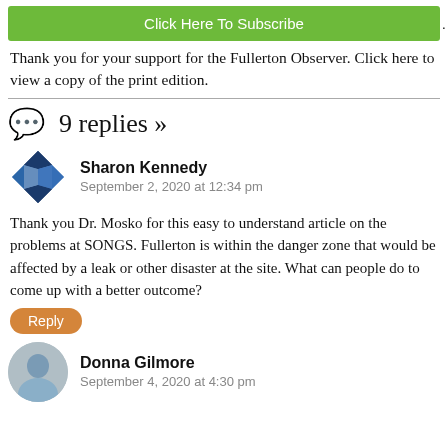Click Here To Subscribe
Thank you for your support for the Fullerton Observer. Click here to view a copy of the print edition.
9 replies »
Sharon Kennedy
September 2, 2020 at 12:34 pm
Thank you Dr. Mosko for this easy to understand article on the problems at SONGS. Fullerton is within the danger zone that would be affected by a leak or other disaster at the site. What can people do to come up with a better outcome?
Reply
Donna Gilmore
September 4, 2020 at 4:30 pm